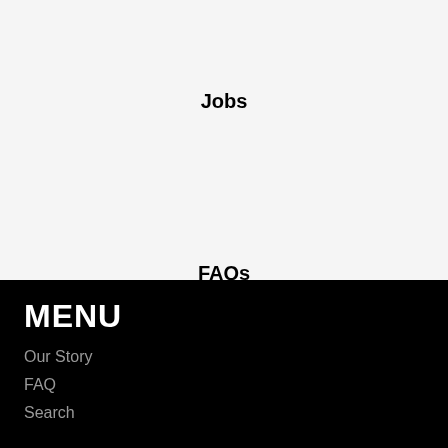Jobs
FAQs
Blog
MENU
Our Story
FAQ
Search